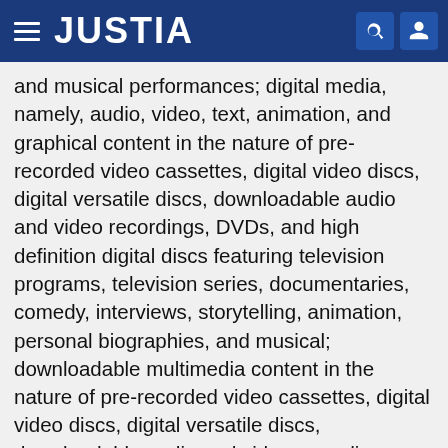JUSTIA
and musical performances; digital media, namely, audio, video, text, animation, and graphical content in the nature of pre-recorded video cassettes, digital video discs, digital versatile discs, downloadable audio and video recordings, DVDs, and high definition digital discs featuring television programs, television series, documentaries, comedy, interviews, storytelling, animation, personal biographies, and musical; downloadable multimedia content in the nature of pre-recorded video cassettes, digital video discs, digital versatile discs, downloadable audio and video recordings, DVDs, and high definition digital discs, namely, audio, video, text, animation, and graphical content, downloadable via a global computer network and wireless devices featuring television programs, television series, documentaries, comedy, interviews, storytelling, animation, personal biographies and